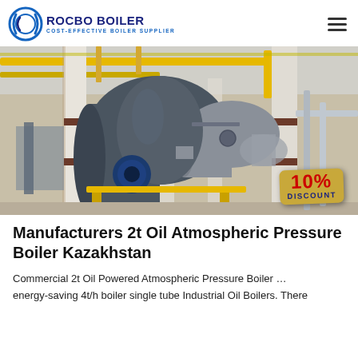ROCBO BOILER — COST-EFFECTIVE BOILER SUPPLIER
[Figure (photo): Industrial boiler room interior showing large cylindrical oil-fired atmospheric pressure boilers with yellow pipes overhead, concrete columns, and a 10% DISCOUNT badge overlay in the bottom right corner.]
Manufacturers 2t Oil Atmospheric Pressure Boiler Kazakhstan
Commercial 2t Oil Powered Atmospheric Pressure Boiler … energy-saving 4t/h boiler single tube Industrial Oil Boilers. There